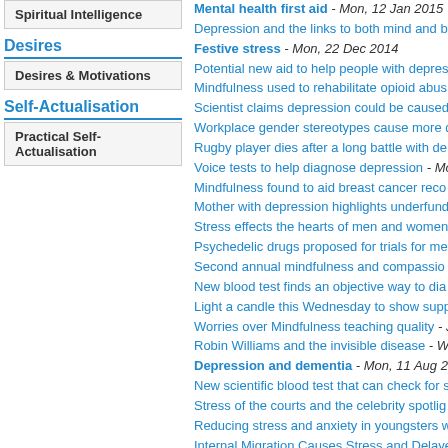Spiritual Intelligence
Desires
Desires & Motivations
Self-Actualisation
Practical Self-Actualisation
Mental health first aid - Mon, 12 Jan 2015
Depression and the links to both mind and b...
Festive stress - Mon, 22 Dec 2014
Potential new aid to help people with depres...
Mindfulness used to rehabilitate opioid abus...
Scientist claims depression could be caused...
Workplace gender stereotypes cause more d...
Rugby player dies after a long battle with de...
Voice tests to help diagnose depression - Mo...
Mindfulness found to aid breast cancer reco...
Mother with depression highlights underfund...
Stress effects the hearts of men and women...
Psychedelic drugs proposed for trials for me...
Second annual mindfulness and compassio...
New blood test finds an objective way to dia...
Light a candle this Wednesday to show supp...
Worries over Mindfulness teaching quality - J...
Robin Williams and the invisible disease - W...
Depression and dementia - Mon, 11 Aug 20...
New scientific blood test that can check for s...
Stress of the courts and the celebrity spotlig...
Reducing stress and anxiety in youngsters w...
Internal Migration Causes Stress and Delaye...
Stereotypes and Workplace Stress - Mon, 09...
Mental Health Patients sectioned in Order to...
Exam Stress and Potting Zone - Mon, 19 Ma...